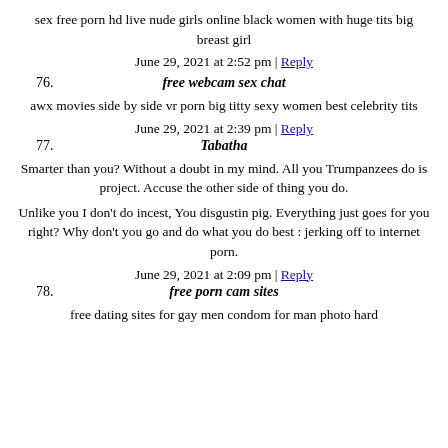sex free porn hd live nude girls online black women with huge tits big breast girl
June 29, 2021 at 2:52 pm | Reply
76. free webcam sex chat
awx movies side by side vr porn big titty sexy women best celebrity tits
June 29, 2021 at 2:39 pm | Reply
77. Tabatha
Smarter than you? Without a doubt in my mind. All you Trumpanzees do is project. Accuse the other side of thing you do.
Unlike you I don't do incest, You disgustin pig. Everything just goes for you right? Why don't you go and do what you do best : jerking off to internet porn.
June 29, 2021 at 2:09 pm | Reply
78. free porn cam sites
free dating sites for gay men condom for man photo hard